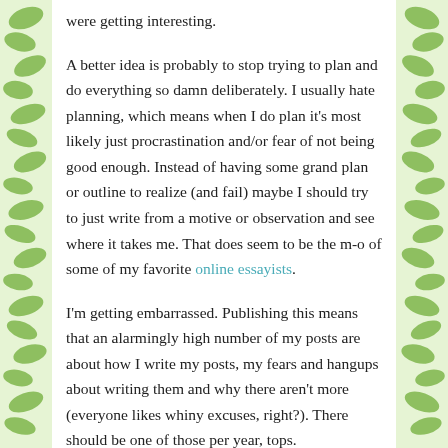were getting interesting.
A better idea is probably to stop trying to plan and do everything so damn deliberately. I usually hate planning, which means when I do plan it's most likely just procrastination and/or fear of not being good enough. Instead of having some grand plan or outline to realize (and fail) maybe I should try to just write from a motive or observation and see where it takes me. That does seem to be the m-o of some of my favorite online essayists.
I'm getting embarrassed. Publishing this means that an alarmingly high number of my posts are about how I write my posts, my fears and hangups about writing them and why there aren't more (everyone likes whiny excuses, right?). There should be one of those per year, tops.